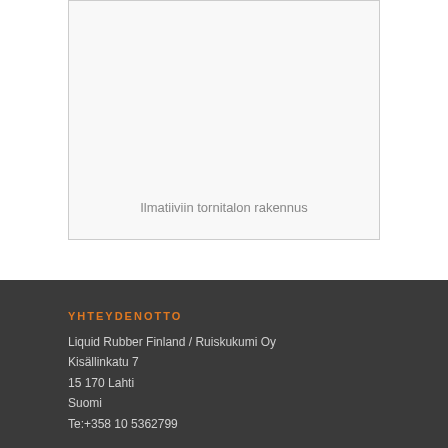[Figure (photo): Photo of airtight tower building construction (Ilmatiiviin tornitalon rakennus)]
Ilmatiiviin tornitalon rakennus
YHTEYDENOTTO
Liquid Rubber Finland / Ruiskukumi Oy
Kisällinkatu 7
15 170 Lahti
Suomi
Te:+358 10 5362799